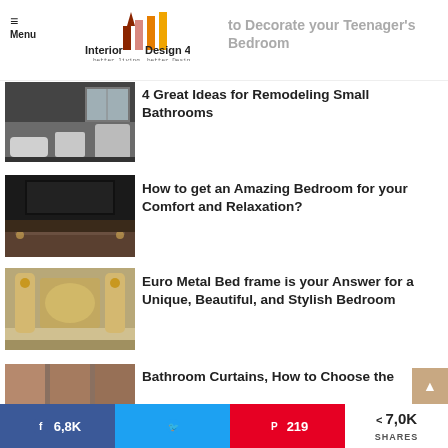Menu | Interior Design 4 – better living, better Designing
to Decorate your Teenager's Bedroom
[Figure (photo): Small modern bathroom with dark tiles and white fixtures]
4 Great Ideas for Remodeling Small Bathrooms
[Figure (photo): Dark luxurious bedroom with large bed and wall-mounted TV]
How to get an Amazing Bedroom for your Comfort and Relaxation?
[Figure (photo): Ornate gold Euro-style bed frame in an elegant bedroom]
Euro Metal Bed frame is your Answer for a Unique, Beautiful, and Stylish Bedroom
[Figure (photo): Bathroom with curtains - partial view]
Bathroom Curtains, How to Choose the
6,8K shares on Facebook | Twitter share | 219 on Pinterest | 7,0K SHARES